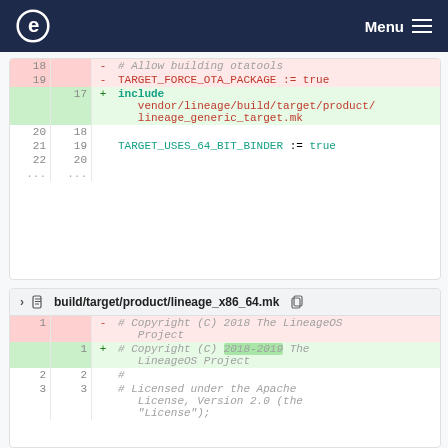Menu
[Figure (screenshot): Code diff block showing removal of TARGET_FORCE_OTA_PACKAGE := true and addition of include vendor/lineage/build/target/product/lineage_generic_target.mk, with unchanged context lines for TARGET_USES_64_BIT_BINDER := true]
build/target/product/lineage_x86_64.mk
[Figure (screenshot): Code diff block for build/target/product/lineage_x86_64.mk showing removal of Copyright (C) 2018 and addition of Copyright (C) 2018-2019 The LineageOS Project, with context lines for # and # Licensed under the Apache License, Version 2.0 (the License);]